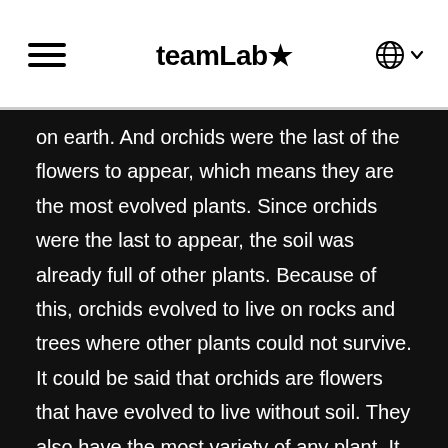teamLab★
on earth. And orchids were the last of the flowers to appear, which means they are the most evolved plants. Since orchids were the last to appear, the soil was already full of other plants. Because of this, orchids evolved to live on rocks and trees where other plants could not survive. It could be said that orchids are flowers that have evolved to live without soil. They also have the most variety of any plant. It is said that about 10% of all plant species on land are in the orchid family. To begin with, at least 220,000 of the 250,000 land plant species were flowering plants. Evolution selects for diversity, and it can be said that flowers are born to produce diversity. The most evolved orchids have chosen a diversity that overwhelms all other flowers, and it is that diversity that